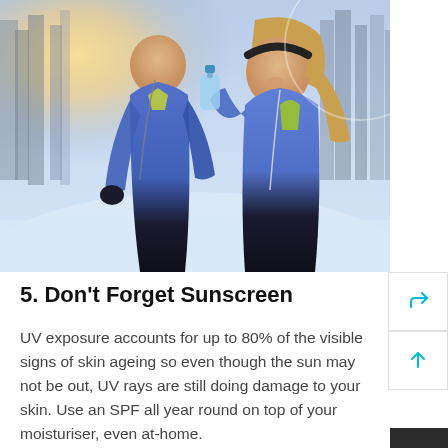[Figure (photo): Two people in blue athletic wear jogging outdoors in a snowy winter setting. A woman in the foreground drinks from a water bottle, a man stands behind. Trees and snow visible in background.]
5. Don't Forget Sunscreen
UV exposure accounts for up to 80% of the visible signs of skin ageing so even though the sun may not be out, UV rays are still doing damage to your skin. Use an SPF all year round on top of your moisturiser, even at-home.